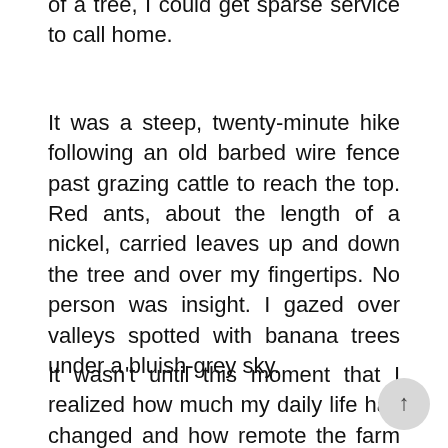of a tree, I could get sparse service to call home.
It was a steep, twenty-minute hike following an old barbed wire fence past grazing cattle to reach the top. Red ants, about the length of a nickel, carried leaves up and down the tree and over my fingertips. No person was insight. I gazed over valleys spotted with banana trees under a bluish-grey sky.
It wasn't until this moment that I realized how much my daily life has changed and how remote the farm really is. We don't have available phone service, television or